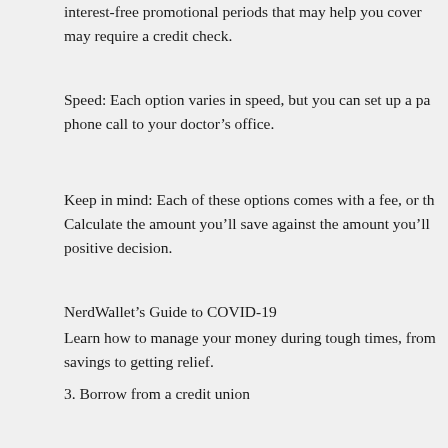interest-free promotional periods that may help you cover the cost, but may require a credit check.
Speed: Each option varies in speed, but you can set up a payment plan with a phone call to your doctor's office.
Keep in mind: Each of these options comes with a fee, or th... Calculate the amount you'll save against the amount you'll... positive decision.
NerdWallet's Guide to COVID-19
Learn how to manage your money during tough times, from building your savings to getting relief.
3. Borrow from a credit union
Best for: When you're in good standing with a credit union and can wait a couple of days for a loan approval.
If you're an existing credit union member, or are eligible to join one, it's a good option already at your disposal.